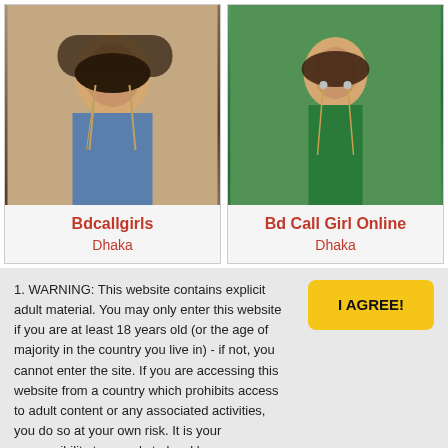[Figure (photo): Photo of a young woman with long earrings wearing a blue outfit, posing indoors]
[Figure (photo): Photo of a young woman in a green saree posing outdoors with green foliage background]
Bdcallgirls
Dhaka
Bd Call Girl Online
Dhaka
1. WARNING: This website contains explicit adult material. You may only enter this website if you are at least 18 years old (or the age of majority in the country you live in) - if not, you cannot enter the site. If you are accessing this website from a country which prohibits access to adult content or any associated activities, you do so at your own risk. It is your responsibility to comply to local laws.
2. We use cookies to enhance your experience. By continuing to visit this site you agree to our use of cookies. More info